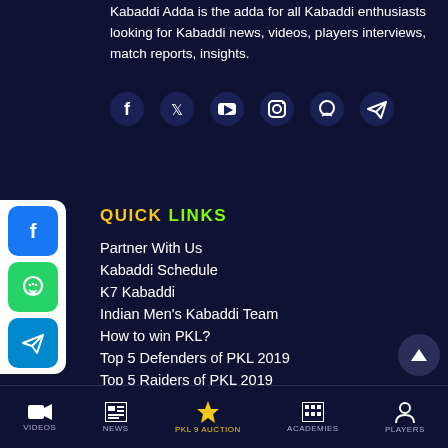Kabaddi Adda is the adda for all Kabaddi enthusiasts looking for Kabaddi news, videos, players interviews, match reports, insights.
[Figure (infographic): Social media icons row: Facebook, Twitter, YouTube, Instagram, WhatsApp, Telegram]
[Figure (infographic): Social share sidebar with Facebook, WhatsApp, Telegram buttons]
QUICK LINKS
Partner With Us
Kabaddi Schedule
K7 Kabaddi
Indian Men's Kabaddi Team
How to win PKL?
Top 5 Defenders of PKL 2019
Top 5 Raiders of PKL 2019
How to organize a Kabaddi Tournament
VIDEOS | NEWS | PKL 9 AUCTION | ACADEMIES | PLAYERS